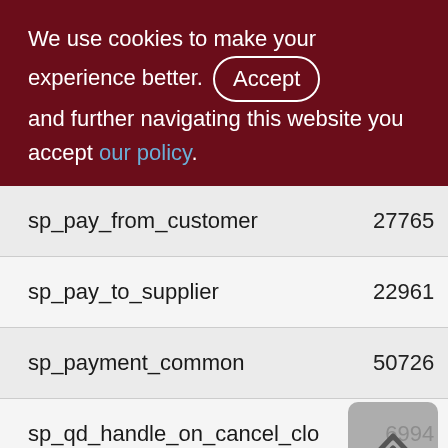We use cookies to make your experience better. By accepting and further navigating this website you accept our policy.
| Name | Col2 | Col3 |
| --- | --- | --- |
| sp_pay_from_customer | 27765 | 277 |
| sp_pay_to_supplier | 22961 | 229 |
| sp_payment_common | 50726 | 507 |
| sp_qd_handle_on_cancel_clo | 6994 | 68 |
| sp_qd_handle_on_invoice_upd_sts | 16418 | 155 |